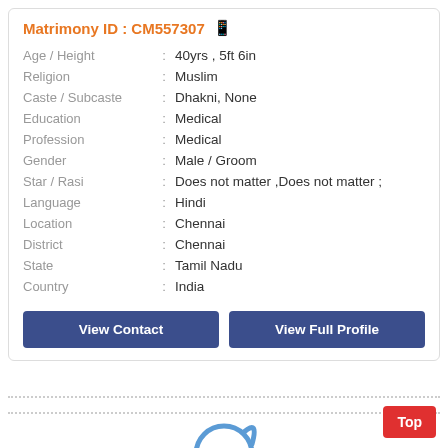Matrimony ID : CM557307
| Field | : | Value |
| --- | --- | --- |
| Age / Height | : | 40yrs , 5ft 6in |
| Religion | : | Muslim |
| Caste / Subcaste | : | Dhakni, None |
| Education | : | Medical |
| Profession | : | Medical |
| Gender | : | Male / Groom |
| Star / Rasi | : | Does not matter ,Does not matter ; |
| Language | : | Hindi |
| Location | : | Chennai |
| District | : | Chennai |
| State | : | Tamil Nadu |
| Country | : | India |
View Contact
View Full Profile
[Figure (illustration): Generic male avatar/profile icon in blue outline style]